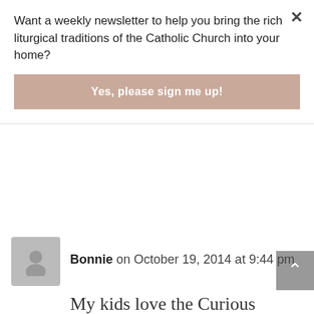Want a weekly newsletter to help you bring the rich liturgical traditions of the Catholic Church into your home?
Yes, please sign me up!
all the time! (Plus they're only 20 minutes each, usually, so it's not a big time-investment.)
Log in to Reply
Bonnie on October 19, 2014 at 9:44 pm
My kids love the Curious George Halloween Boofest and I think it's good. The songs are horrible, it is